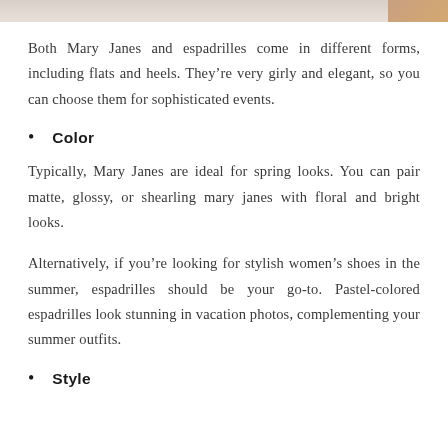[Figure (photo): Partial image strip at top of page showing a light background with a tan/skin-toned element in the upper right corner]
Both Mary Janes and espadrilles come in different forms, including flats and heels. They’re very girly and elegant, so you can choose them for sophisticated events.
Color
Typically, Mary Janes are ideal for spring looks. You can pair matte, glossy, or shearling mary janes with floral and bright looks.
Alternatively, if you’re looking for stylish women’s shoes in the summer, espadrilles should be your go-to. Pastel-colored espadrilles look stunning in vacation photos, complementing your summer outfits.
Style